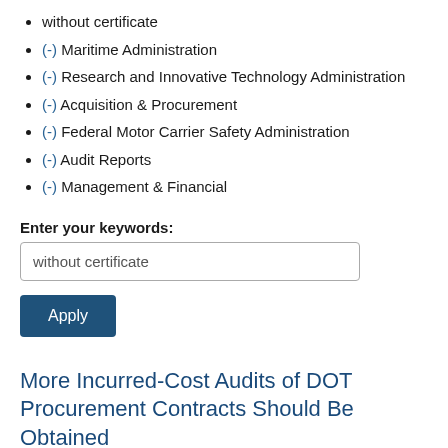without certificate
(-) Maritime Administration
(-) Research and Innovative Technology Administration
(-) Acquisition & Procurement
(-) Federal Motor Carrier Safety Administration
(-) Audit Reports
(-) Management & Financial
Enter your keywords:
without certificate
Apply
More Incurred-Cost Audits of DOT Procurement Contracts Should Be Obtained